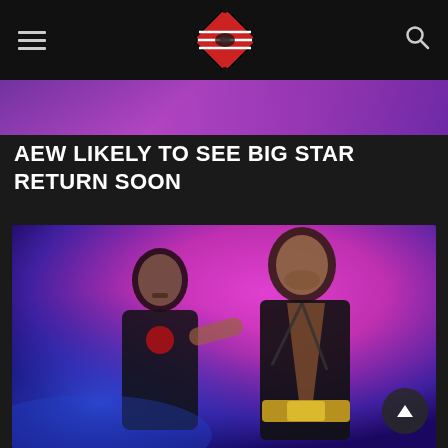Navigation bar with hamburger menu, wrestling ring logo, and search icon
[Figure (photo): Partial view of a wrestling event photo strip at the top — purple/pink stage lighting background]
AEW LIKELY TO SEE BIG STAR RETURN SOON
[Figure (photo): Two professional wrestlers on stage with pink/blue stage lighting. The man on the right is shirtless wearing a black leather jacket and a championship belt, pulling the jacket open. The man on the left wears a black shirt with a red design and has a mustache.]